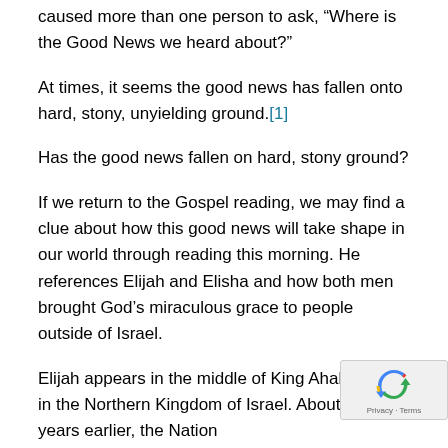caused more than one person to ask, “Where is the Good News we heard about?”
At times, it seems the good news has fallen onto hard, stony, unyielding ground.[1]
Has the good news fallen on hard, stony ground?
If we return to the Gospel reading, we may find a clue about how this good news will take shape in our world through reading this morning. He references Elijah and Elisha and how both men brought God’s miraculous grace to people outside of Israel.
Elijah appears in the middle of King Ahab’s reign in the Northern Kingdom of Israel. About 50 years earlier, the Nation